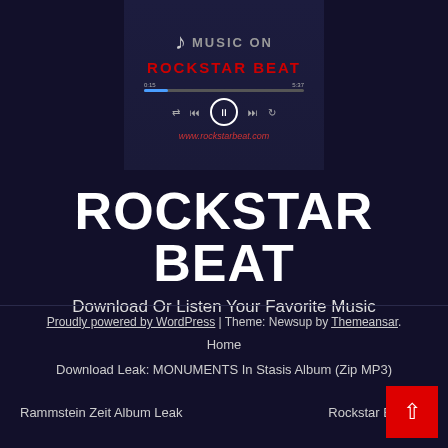[Figure (screenshot): Music player widget for Rockstar Beat website showing treble clef, MUSIC ON text, ROCKSTAR BEAT title, progress bar, playback controls, and www.rockstarbeat.com URL]
ROCKSTAR BEAT
Download Or Listen Your Favorite Music
Proudly powered by WordPress | Theme: Newsup by Themeansar.
Home
Download Leak: MONUMENTS In Stasis Album (Zip MP3)
Rammstein Zeit Album Leak
Rockstar Beat